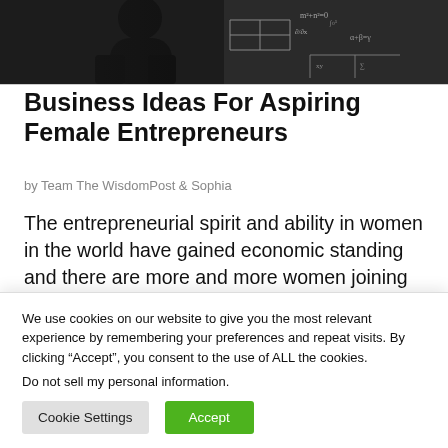[Figure (photo): Banner image split into two halves: left side shows a dark silhouette of a person (woman), right side shows a chalkboard with mathematical equations and diagrams.]
Business Ideas For Aspiring Female Entrepreneurs
by Team The WisdomPost & Sophia
The entrepreneurial spirit and ability in women in the world have gained economic standing and there are more and more women joining the league than ever before. And when it comes to women entrepreneurs, a
We use cookies on our website to give you the most relevant experience by remembering your preferences and repeat visits. By clicking “Accept”, you consent to the use of ALL the cookies.
Do not sell my personal information.